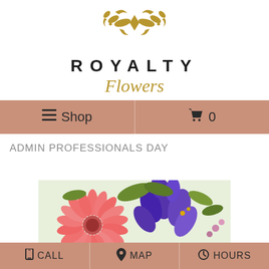[Figure (logo): Gold ornamental crown/floral emblem for Royalty Flowers]
ROYALTY
Flowers
≡ Shop | 🛒 0
ADMIN PROFESSIONALS DAY
[Figure (photo): Close-up photo of pink gerbera daisy and purple iris flowers in a floral arrangement]
📱 CALL  |  📍 MAP  |  🕐 HOURS